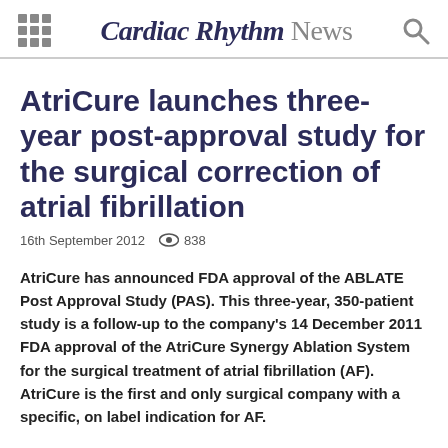Cardiac Rhythm News
AtriCure launches three-year post-approval study for the surgical correction of atrial fibrillation
16th September 2012  838
AtriCure has announced FDA approval of the ABLATE Post Approval Study (PAS). This three-year, 350-patient study is a follow-up to the company's 14 December 2011 FDA approval of the AtriCure Synergy Ablation System for the surgical treatment of atrial fibrillation (AF). AtriCure is the first and only surgical company with a specific, on label indication for AF.
The PAS study is intended to build additional evidence on the safety,